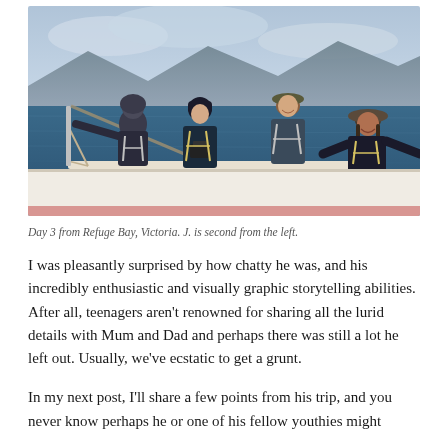[Figure (photo): Four people in dark sailing gear and harnesses standing on the deck of a sailboat. Mountains and ocean visible in the background. Overcast day.]
Day 3 from Refuge Bay, Victoria. J. is second from the left.
I was pleasantly surprised by how chatty he was, and his incredibly enthusiastic and visually graphic storytelling abilities. After all, teenagers aren't renowned for sharing all the lurid details with Mum and Dad and perhaps there was still a lot he left out. Usually, we've ecstatic to get a grunt.
In my next post, I'll share a few points from his trip, and you never know perhaps he or one of his fellow youthies might